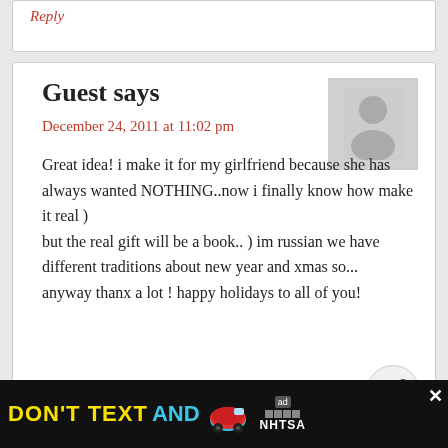Reply
Guest says
December 24, 2011 at 11:02 pm
Great idea! i make it for my girlfriend because she has always wanted NOTHING..now i finally know how make it real )
but the real gift will be a book.. ) im russian we have different traditions about new year and xmas so...
anyway thanx a lot ! happy holidays to all of you!
Reply
Guest says
December 5, 2011 at 11:47 am
[Figure (infographic): DON'T TEXT AND DRIVE advertisement banner with car emoji, AdChoices logo, and NHTSA branding]